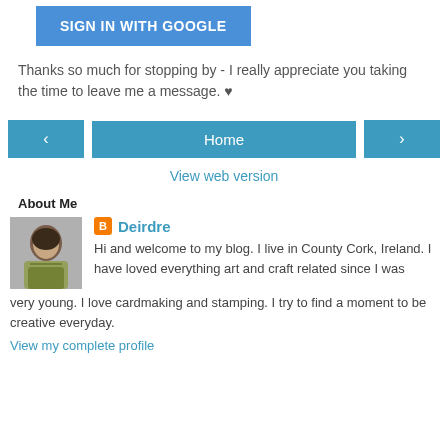[Figure (other): SIGN IN WITH GOOGLE button — blue rectangular button with white text]
Thanks so much for stopping by - I really appreciate you taking the time to leave me a message. ♥
[Figure (other): Navigation row with left arrow button, Home button, and right arrow button in teal/blue]
View web version
About Me
[Figure (photo): Profile photo of Deirdre — woman with dark hair and yellow-green scarf]
Deirdre
Hi and welcome to my blog. I live in County Cork, Ireland. I have loved everything art and craft related since I was very young. I love cardmaking and stamping. I try to find a moment to be creative everyday.
View my complete profile